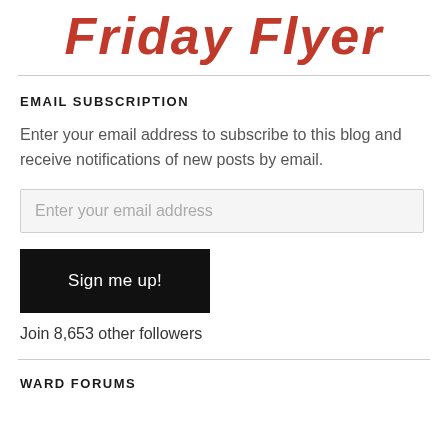Friday Flyer
EMAIL SUBSCRIPTION
Enter your email address to subscribe to this blog and receive notifications of new posts by email.
Enter your email address
Sign me up!
Join 8,653 other followers
WARD FORUMS